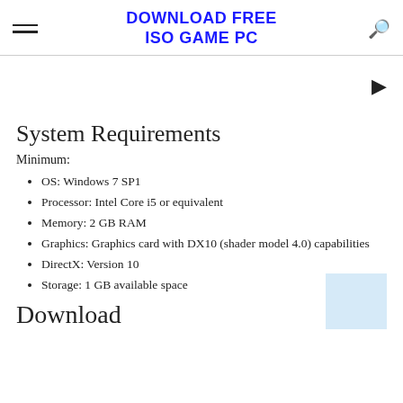DOWNLOAD FREE ISO GAME PC
[Figure (other): Video player area with play button triangle icon on the right side]
System Requirements
Minimum:
OS: Windows 7 SP1
Processor: Intel Core i5 or equivalent
Memory: 2 GB RAM
Graphics: Graphics card with DX10 (shader model 4.0) capabilities
DirectX: Version 10
Storage: 1 GB available space
Download